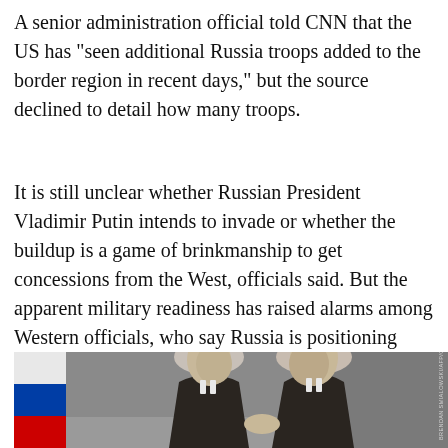A senior administration official told CNN that the US has "seen additional Russia troops added to the border region in recent days," but the source declined to detail how many troops.
It is still unclear whether Russian President Vladimir Putin intends to invade or whether the buildup is a game of brinkmanship to get concessions from the West, officials said. But the apparent military readiness has raised alarms among Western officials, who say Russia is positioning itself to be able to launch an attack on very short notice.
[Figure (photo): Two men in dark suits facing each other and shaking hands. A Russian flag (white, blue, red) is visible on the left side. A watermark reading 'BRENDAN SMIALOWSKI/AFP/GETTY IMAGES' appears vertically on the right edge.]